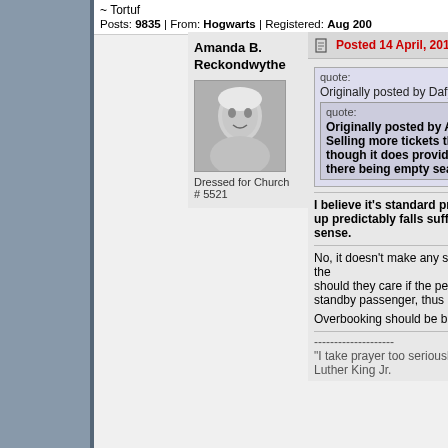~ Tortuf | Posts: 9835 | From: Hogwarts | Registered: Aug 200
Amanda B. Reckondwythe
[Figure (photo): Black and white photo of a young person dressed for church]
Dressed for Church
# 5521
Posted 14 April, 2017 00:10
quote:
Originally posted by Dafyd:
quote:
Originally posted by Alan: Selling more tickets than... though it does provide so... there being empty seats.
I believe it's standard practice i... up predictably falls sufficiently... sense.
No, it doesn't make any sense at all. If the... should they care if the person who bough... standby passenger, thus collecting twice...
Overbooking should be banned. Period.
--------------------
"I take prayer too seriously to use it as a... Luther King Jr.